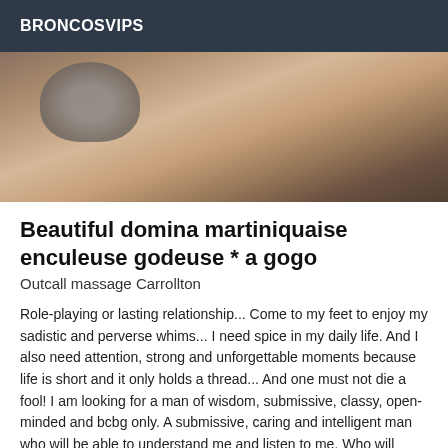BRONCOSVIPS
[Figure (photo): Close-up photograph of a person bending down, showing head and upper body, warm toned background]
Beautiful domina martiniquaise enculeuse godeuse * a gogo
Outcall massage Carrollton
Role-playing or lasting relationship... Come to my feet to enjoy my sadistic and perverse whims... I need spice in my daily life. And I also need attention, strong and unforgettable moments because life is short and it only holds a thread... And one must not die a fool! I am looking for a man of wisdom, submissive, classy, open-minded and bcbg only. A submissive, caring and intelligent man who will be able to understand me and listen to me. Who will know how to give me pleasure when I need to take it out on him! I want to possess a